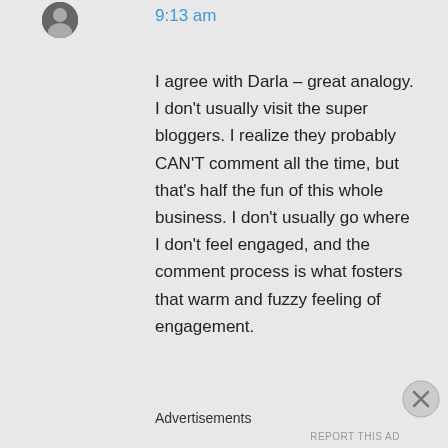[Figure (photo): Small circular avatar photo in top-left area]
9:13 am
I agree with Darla – great analogy. I don't usually visit the super bloggers. I realize they probably CAN'T comment all the time, but that's half the fun of this whole business. I don't usually go where I don't feel engaged, and the comment process is what fosters that warm and fuzzy feeling of engagement.
Advertisements